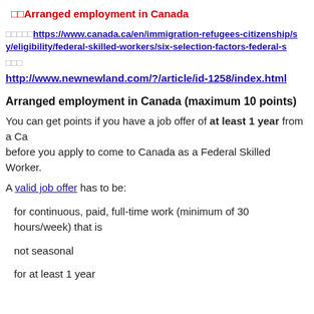Arranged employment in Canada
（CJK characters）https://www.canada.ca/en/immigration-refugees-citizenship/s y/eligibility/federal-skilled-workers/six-selection-factors-federal-s
（CJK characters）
http://www.newnewland.com/?/article/id-1258/index.html
Arranged employment in Canada (maximum 10 points)
You can get points if you have a job offer of at least 1 year from a Canadian employer before you apply to come to Canada as a Federal Skilled Worker.
A valid job offer has to be:
for continuous, paid, full-time work (minimum of 30 hours/week) that is
not seasonal
for at least 1 year